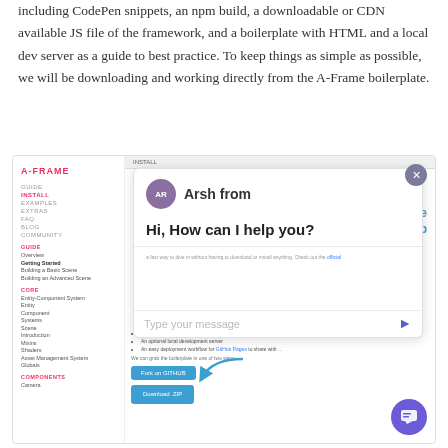including CodePen snippets, an npm build, a downloadable or CDN available JS file of the framework, and a boilerplate with HTML and a local dev server as a guide to best practice. To keep things as simple as possible, we will be downloading and working directly from the A-Frame boilerplate.
[Figure (screenshot): Screenshot of A-Frame documentation website with a chat overlay from 'Arsh from' with greeting 'Hi, How can I help you?' and a message input field. The background shows the A-Frame docs sidebar and install page content with Download the Boilerplate zip section visible.]